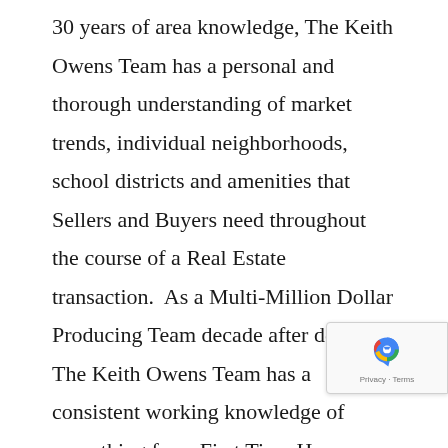30 years of area knowledge, The Keith Owens Team has a personal and thorough understanding of market trends, individual neighborhoods, school districts and amenities that Sellers and Buyers need throughout the course of a Real Estate transaction.  As a Multi-Million Dollar Producing Team decade after decade, The Keith Owens Team has a consistent working knowledge of everything from First Time Home Buying to Luxury Waterfront Properties.
The Keith Owens Team offers extensive